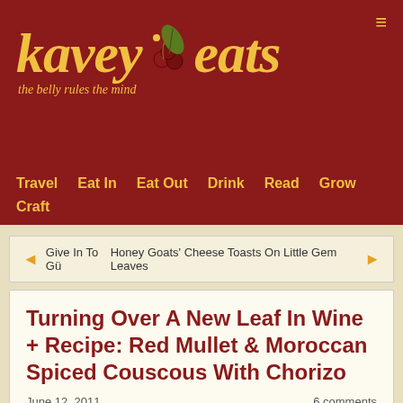kavey eats — the belly rules the mind
Travel  Eat In  Eat Out  Drink  Read  Grow  Craft
◄ Give In To Gü     Honey Goats' Cheese Toasts On Little Gem Leaves ►
Turning Over A New Leaf In Wine + Recipe: Red Mullet & Moroccan Spiced Couscous With Chorizo
June 12, 2011
6 comments